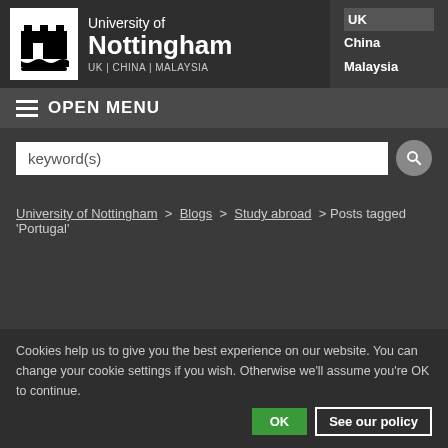[Figure (logo): University of Nottingham logo with castle icon, text 'University of Nottingham' and 'UK | CHINA | MALAYSIA'. Navigation links: UK, China, Malaysia on the right.]
≡ OPEN MENU
keyword(s)
University of Nottingham > Blogs > Study abroad > Posts tagged 'Portugal'
Cookies help us to give you the best experience on our website. You can change your cookie settings if you wish. Otherwise we'll assume you're OK to continue.